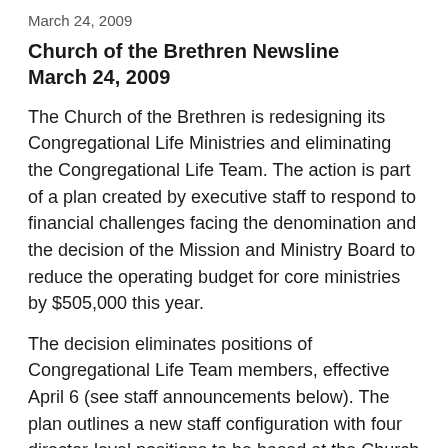March 24, 2009
Church of the Brethren Newsline
March 24, 2009
The Church of the Brethren is redesigning its Congregational Life Ministries and eliminating the Congregational Life Team. The action is part of a plan created by executive staff to respond to financial challenges facing the denomination and the decision of the Mission and Ministry Board to reduce the operating budget for core ministries by $505,000 this year.
The decision eliminates positions of Congregational Life Team members, effective April 6 (see staff announcements below). The plan outlines a new staff configuration with four director-level positions to be based at the Church of the Brethren General Offices in Elgin, Ill. The four positions are Intercultural Ministries, Transforming Practices, Spiritual Life and Discipleship,